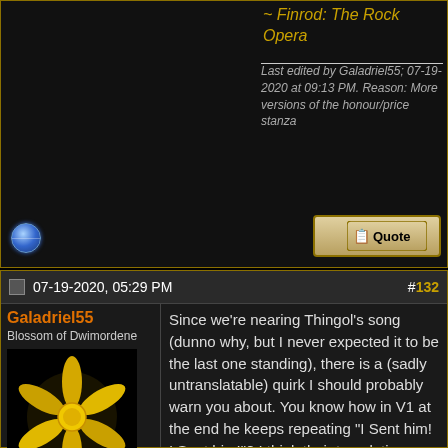~ Finrod: The Rock Opera
Last edited by Galadriel55; 07-19-2020 at 09:13 PM. Reason: More versions of the honour/price stanza
07-19-2020, 05:29 PM
#132
Galadriel55
Blossom of Dwimordene
[Figure (illustration): Yellow daffodil flower illustration on black background]
Join Date: Oct 2010
Location: The realm of forgotten words
Posts: 9,946
Since we're nearing Thingol's song (dunno why, but I never expected it to be the last one standing), there is a (sadly untranslatable) quirk I should probably warn you about. You know how in V1 at the end he keeps repeating "I Sent him! I Sent him!"? I think their translation even put "Sent him packing!" in that spot for emphasis. Well. Thingol sent Beren to get a Silmaril, yes. But to "send someone" is also a euphemistic phrase to, uhh, send them to hell, to the ends of the earth, to the devil's grandmother, or what have you. As a real life example of the usage, not too long ago I